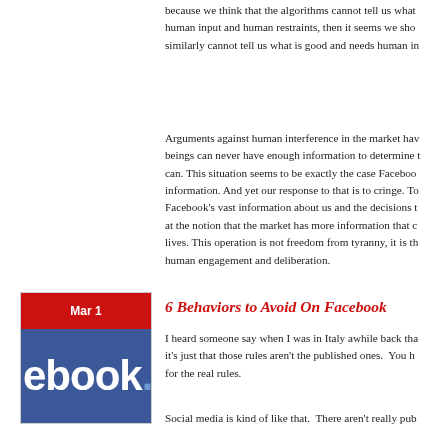because we think that the algorithms cannot tell us what needs human input and human restraints, then it seems we should similarly cannot tell us what is good and needs human in...
Arguments against human interference in the market have beings can never have enough information to determine what can. This situation seems to be exactly the case Facebook information. And yet our response to that is to cringe. To Facebook's vast information about us and the decisions t at the notion that the market has more information that c lives. This operation is not freedom from tyranny, it is the human engagement and deliberation.
[Figure (illustration): Facebook thumbnail image with red header showing 'Mar 1' date and blue background with 'ebook.' text in white]
6 Behaviors to Avoid On Facebook
I heard someone say when I was in Italy awhile back tha it's just that those rules aren't the published ones.  You h for the real rules.
Social media is kind of like that.  There aren't really pub